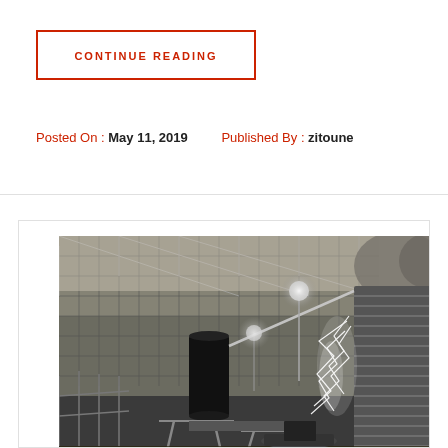CONTINUE READING
Posted On : May 11, 2019   Published By : zitoune
[Figure (photo): Black and white historical photograph showing early electrical equipment, likely a Tesla coil or high-voltage electrical apparatus in an indoor/outdoor laboratory setting with large arcing electricity discharges visible. Wooden structures, metal coils, insulators, and sparks are visible.]